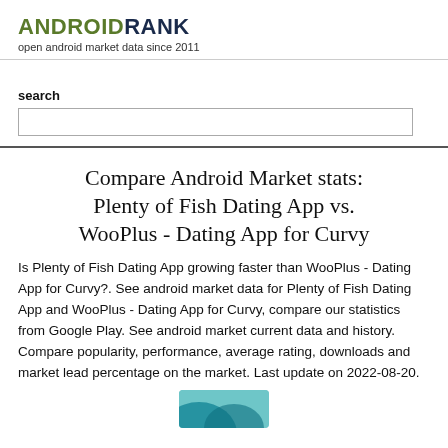ANDROIDRANK
open android market data since 2011
search
Compare Android Market stats: Plenty of Fish Dating App vs. WooPlus - Dating App for Curvy
Is Plenty of Fish Dating App growing faster than WooPlus - Dating App for Curvy?. See android market data for Plenty of Fish Dating App and WooPlus - Dating App for Curvy, compare our statistics from Google Play. See android market current data and history. Compare popularity, performance, average rating, downloads and market lead percentage on the market. Last update on 2022-08-20.
[Figure (illustration): Partial app icon or logo image, teal/blue colored, partially visible at the bottom of the page]